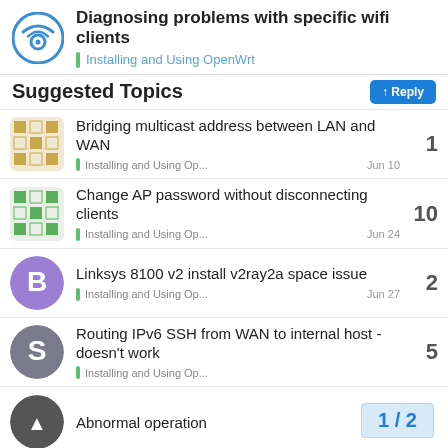Diagnosing problems with specific wifi clients — Installing and Using OpenWrt
Suggested Topics
Bridging multicast address between LAN and WAN — Installing and Using Op... — Jun 10 — 1 reply
Change AP password without disconnecting clients — Installing and Using Op... — Jun 24 — 10 replies
Linksys 8100 v2 install v2ray2a space issue — Installing and Using Op... — Jun 27 — 2 replies
Routing IPv6 SSH from WAN to internal host - doesn't work — Installing and Using Op... — 5 replies
Abnormal operation
1 / 2